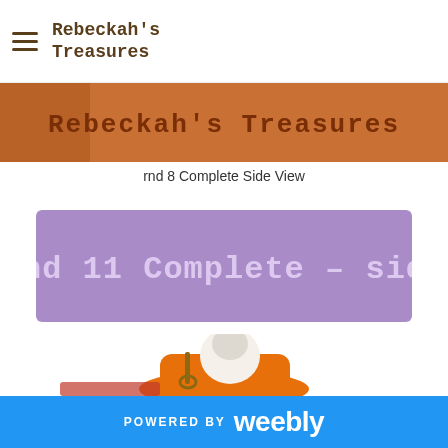Rebeckah's Treasures
[Figure (photo): Rebeckah's Treasures banner with decorative text on an orange/brown background]
rnd 8 Complete Side View
[Figure (photo): Purple banner image with text: rnd 11 Complete - side]
[Figure (photo): Photo of a crocheted piece in orange yarn with a safety pin and white tip, sitting on a surface]
POWERED BY weebly